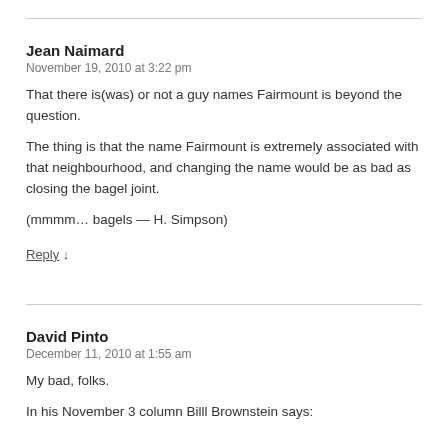Jean Naimard
November 19, 2010 at 3:22 pm
That there is(was) or not a guy names Fairmount is beyond the question.
The thing is that the name Fairmount is extremely associated with that neighbourhood, and changing the name would be as bad as closing the bagel joint.
(mmmm… bagels — H. Simpson)
Reply ↓
David Pinto
December 11, 2010 at 1:55 am
My bad, folks.
In his November 3 column Billl Brownstein says: